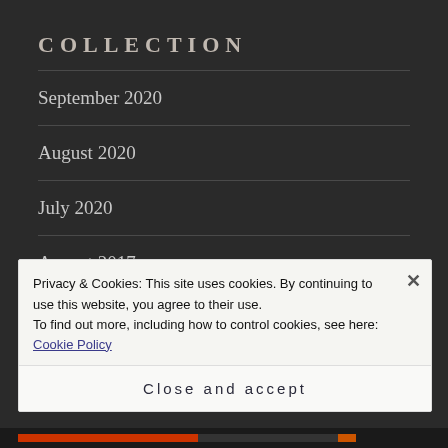COLLECTION
September 2020
August 2020
July 2020
August 2017
May 2017
Privacy & Cookies: This site uses cookies. By continuing to use this website, you agree to their use.
To find out more, including how to control cookies, see here: Cookie Policy
Close and accept